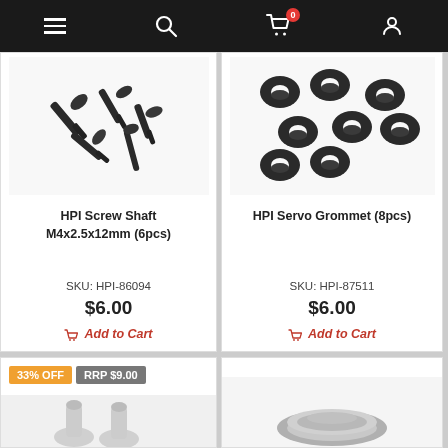Navigation bar with menu, search, cart (0 items), and account icons
[Figure (photo): HPI Screw Shaft M4x2.5x12mm (6pcs) product photo showing dark metal screws and shafts on white background]
HPI Screw Shaft M4x2.5x12mm (6pcs)
SKU: HPI-86094
$6.00
Add to Cart
[Figure (photo): HPI Servo Grommet (8pcs) product photo showing black rubber grommets on white background]
HPI Servo Grommet (8pcs)
SKU: HPI-87511
$6.00
Add to Cart
33% OFF
RRP $9.00